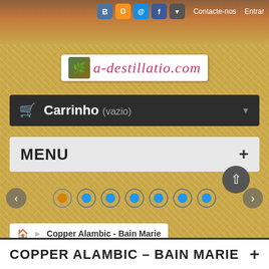Contacte-nos  Entrar
[Figure (logo): a-destillatio.com logo with small image on left and italic red/pink text]
Carrinho (vazio)
MENU +
[Figure (infographic): Carousel navigation with left/right arrows and 7 dots (first dot orange, rest blue)]
Copper Alambic - Bain Marie
COPPER ALAMBIC - BAIN MARIE